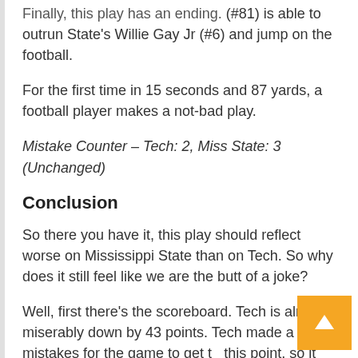(#81) is able to outrun State's Willie Gay Jr (#6) and jump on the football.
For the first time in 15 seconds and 87 yards, a football player makes a not-bad play.
Mistake Counter – Tech: 2, Miss State: 3 (Unchanged)
Conclusion
So there you have it, this play should reflect worse on Mississippi State than on Tech. So why does it still feel like we are the butt of a joke?
Well, first there's the scoreboard. Tech is already miserably down by 43 points. Tech made a lot of mistakes for the game to get to this point, so it would be pretty easy to assume they were fully responsible for this one.